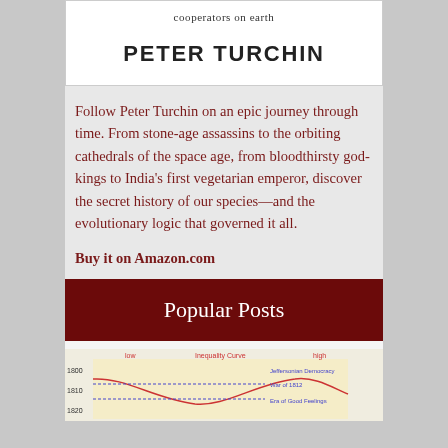cooperators on earth
PETER TURCHIN
Follow Peter Turchin on an epic journey through time. From stone-age assassins to the orbiting cathedrals of the space age, from bloodthirsty god-kings to India's first vegetarian emperor, discover the secret history of our species—and the evolutionary logic that governed it all.
Buy it on Amazon.com
Popular Posts
[Figure (other): Partial view of a chart showing an Inequality Curve with labels 'low', 'Inequality Curve', 'high', years 1800, 1810, 1820 on y-axis, and annotations 'Jeffersonian Democracy', 'War of 1812', 'Era of Good Feelings']